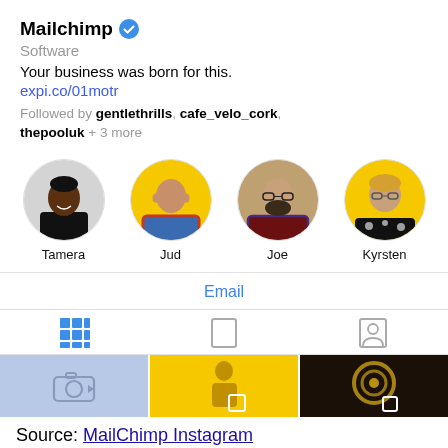Mailchimp ✓
Software
Your business was born for this.
expi.co/01motr
Followed by gentlethrills, cafe_velo_cork, thepooluk + 3 more
[Figure (photo): Four circular profile photos: Tamera (Black woman in black t-shirt), Jud (bald man in plaid shirt, yellow background), Joe (man with beard and glasses, plaid shirt), Kyrsten (woman with glasses, floral top, yellow background)]
Email
[Figure (screenshot): Instagram tab bar with three icons: grid (blue/active), portrait, and person/profile icons]
[Figure (screenshot): Bottom thumbnail strip showing three image thumbnails: light blue with camera icon, yellow with a figure, dark with gold circle pattern]
Source: MailChimp Instagram